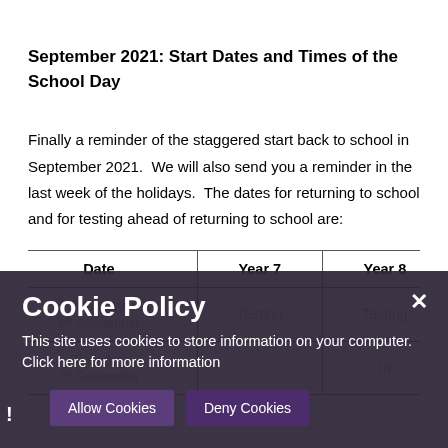September 2021: Start Dates and Times of the School Day
Finally a reminder of the staggered start back to school in September 2021.  We will also send you a reminder in the last week of the holidays.  The dates for returning to school and for testing ahead of returning to school are:
| Date | Year 7 | Year 8 |
| --- | --- | --- |
| Monday 6th September | Testing | Testing |
| Tuesday 7th September |  | In... |
Cookie Policy
This site uses cookies to store information on your computer. Click here for more information